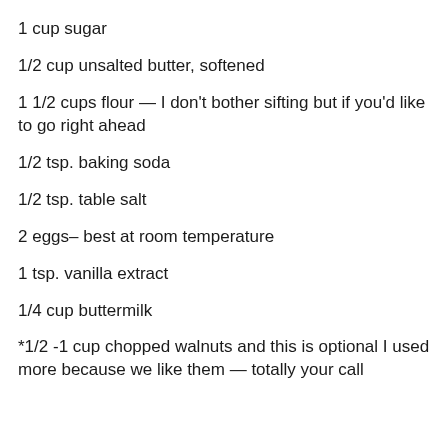1 cup sugar
1/2 cup unsalted butter, softened
1 1/2 cups flour — I don't bother sifting but if you'd like to go right ahead
1/2 tsp. baking soda
1/2 tsp. table salt
2 eggs– best at room temperature
1 tsp. vanilla extract
1/4 cup buttermilk
*1/2 -1 cup chopped walnuts and this is optional I used more because we like them — totally your call